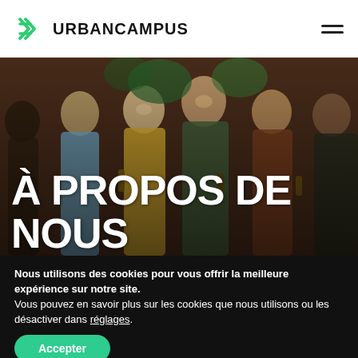[Figure (logo): Urban Campus logo: green stylized X/cross icon followed by bold text URBANCAMPUS]
[Figure (photo): Group of young people laughing and socializing outdoors, holding drinks, against a brick wall background]
À PROPOS DE NOUS
Nous utilisons des cookies pour vous offrir la meilleure expérience sur notre site.
Vous pouvez en savoir plus sur les cookies que nous utilisons ou les désactiver dans réglages.
Accepter